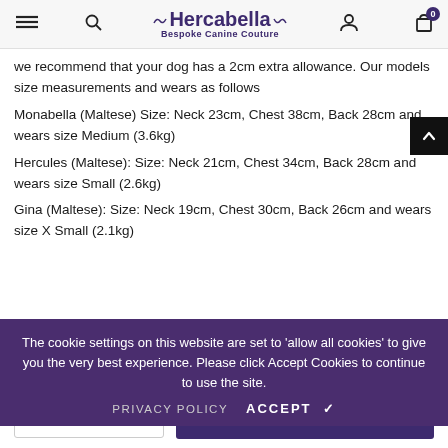Hercabella Bespoke Canine Couture
we recommend that your dog has a 2cm extra allowance. Our models size measurements and wears as follows
Monabella (Maltese) Size: Neck 23cm, Chest 38cm, Back 28cm and wears size Medium (3.6kg)
Hercules (Maltese): Size: Neck 21cm, Chest 34cm, Back 28cm and wears size Small (2.6kg)
Gina (Maltese): Size: Neck 19cm, Chest 30cm, Back 26cm and wears size X Small (2.1kg)
The cookie settings on this website are set to 'allow all cookies' to give you the very best experience. Please click Accept Cookies to continue to use the site.
PRIVACY POLICY   ACCEPT ✔
Product Care and Recommendations
XS – £65.00   ADD TO CART